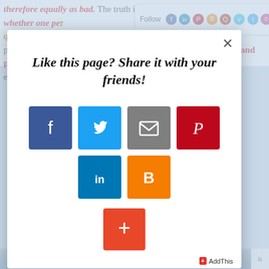therefore equally as bad. The truth is that we cannot determine whether one person's qualifications whether people who are joined together in faith and practice. Their "faith and practice" determine the rightness or wrongness of the church that was formed by their together relationships. But if any
[Figure (screenshot): Follow bar with social media icons: Facebook, LinkedIn, Pinterest, Blogger, Quora, Vimeo, Twitter, Instagram]
[Figure (screenshot): Share modal overlay with title 'Like this page? Share it with your friends!' and six social share buttons: Facebook (blue), Twitter (light blue), Email (gray), Pinterest (red), LinkedIn (blue), Blogger (orange), and a red plus button. AddThis branding at bottom right.]